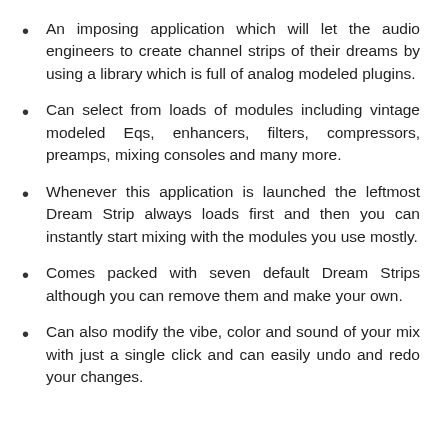An imposing application which will let the audio engineers to create channel strips of their dreams by using a library which is full of analog modeled plugins.
Can select from loads of modules including vintage modeled Eqs, enhancers, filters, compressors, preamps, mixing consoles and many more.
Whenever this application is launched the leftmost Dream Strip always loads first and then you can instantly start mixing with the modules you use mostly.
Comes packed with seven default Dream Strips although you can remove them and make your own.
Can also modify the vibe, color and sound of your mix with just a single click and can easily undo and redo your changes.